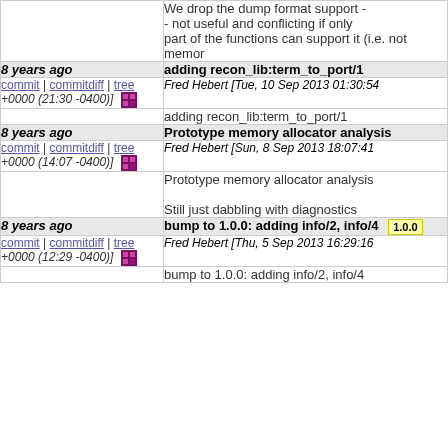We drop the dump format support - - not useful and conflicting if only part of the functions can support it (i.e. not memor
8 years ago
adding recon_lib:term_to_port/1
commit | commitdiff | tree Fred Hebert [Tue, 10 Sep 2013 01:30:54 +0000 (21:30 -0400)]
adding recon_lib:term_to_port/1
8 years ago
Prototype memory allocator analysis
commit | commitdiff | tree Fred Hebert [Sun, 8 Sep 2013 18:07:41 +0000 (14:07 -0400)]
Prototype memory allocator analysis

Still just dabbling with diagnostics
8 years ago
bump to 1.0.0: adding info/2, info/4 1.0.0
commit | commitdiff | tree Fred Hebert [Thu, 5 Sep 2013 16:29:16 +0000 (12:29 -0400)]
bump to 1.0.0: adding info/2, info/4